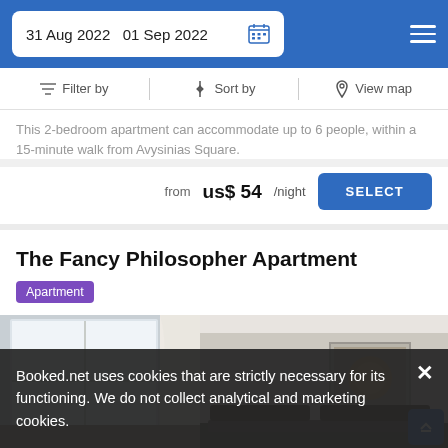31 Aug 2022  01 Sep 2022
Filter by  Sort by  View map
This 2-bedroom apartment can accommodate up to 6 people, within a 15-minute walk from Avysinias Square.
from us$ 54/night  SELECT
The Fancy Philosopher Apartment
Apartment
[Figure (photo): Interior photo of a bedroom with white curtains, a window, and a framed artwork on the wall]
Booked.net uses cookies that are strictly necessary for its functioning. We do not collect analytical and marketing cookies.